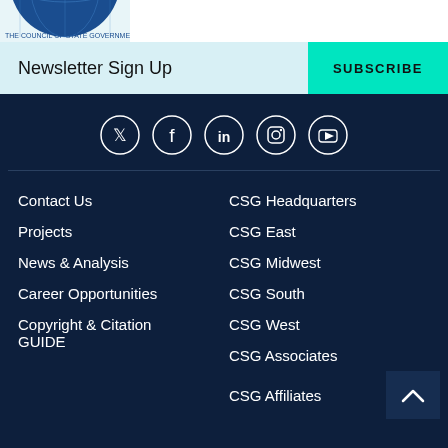[Figure (logo): CSG globe logo, blue circular globe with text, partially visible at top left]
Newsletter Sign Up
SUBSCRIBE
[Figure (illustration): Social media icons in white circles on dark navy background: Twitter, Facebook, LinkedIn, Instagram, YouTube]
Contact Us
Projects
News & Analysis
Career Opportunities
Copyright & Citation GUIDE
CSG Headquarters
CSG East
CSG Midwest
CSG South
CSG West
CSG Associates
CSG Affiliates